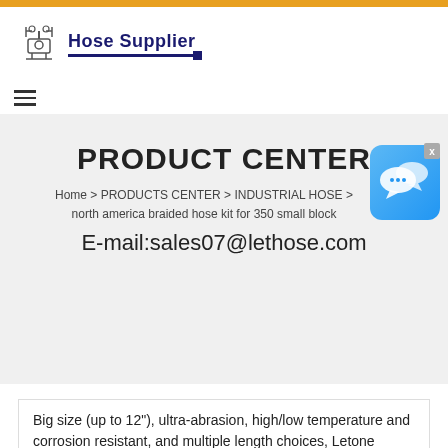[Figure (logo): Hose Supplier company logo with stylized hose fittings icon and blue text 'Hose Supplier' with underline]
PRODUCT CENTER
Home > PRODUCTS CENTER > INDUSTRIAL HOSE > north america braided hose kit for 350 small block
E-mail:sales07@lethose.com
[Figure (other): Chat widget bubble with blue gradient background showing speech bubble icons and an X close button]
Big size (up to 12"), ultra-abrasion, high/low temperature and corrosion resistant, and multiple length choices, Letone